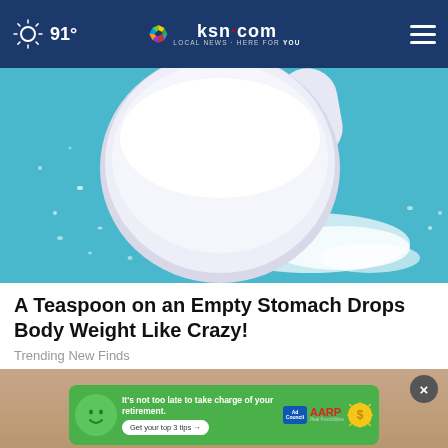91° | ksn.com LOCAL NEWS · HERE FOR YOU
[Figure (photo): Close-up photo of a white powder spilling from a measuring scoop onto a blue surface]
A Teaspoon on an Empty Stomach Drops Body Weight Like Crazy!
Trending New Finds
[Figure (screenshot): Advertisement banner: It's not too late to take charge of your retirement. Get your top 3 tips. Ad Council + AARP Real Possibilities.]